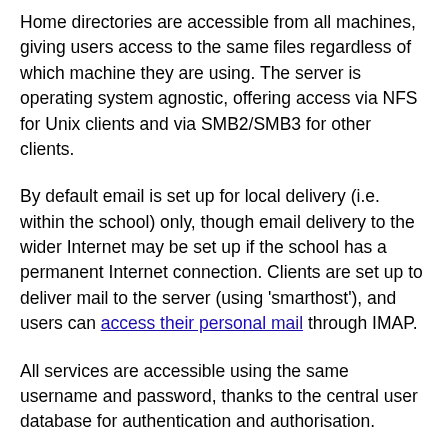Home directories are accessible from all machines, giving users access to the same files regardless of which machine they are using. The server is operating system agnostic, offering access via NFS for Unix clients and via SMB2/SMB3 for other clients.
By default email is set up for local delivery (i.e. within the school) only, though email delivery to the wider Internet may be set up if the school has a permanent Internet connection. Clients are set up to deliver mail to the server (using 'smarthost'), and users can access their personal mail through IMAP.
All services are accessible using the same username and password, thanks to the central user database for authentication and authorisation.
To increase performance on frequently accessed sites a web proxy that caches files locally (Squid) is used.